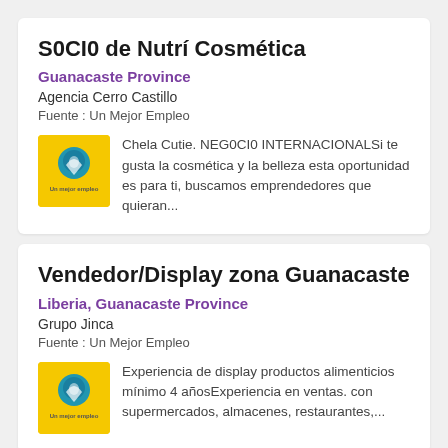S0CI0 de Nutrí Cosmética
Guanacaste Province
Agencia Cerro Castillo
Fuente : Un Mejor Empleo
Chela Cutie. NEG0CI0 INTERNACIONALSi te gusta la cosmética y la belleza esta oportunidad es para ti, buscamos emprendedores que quieran...
Vendedor/Display zona Guanacaste
Liberia, Guanacaste Province
Grupo Jinca
Fuente : Un Mejor Empleo
Experiencia de display productos alimenticios mínimo 4 añosExperiencia en ventas. con supermercados, almacenes, restaurantes,...